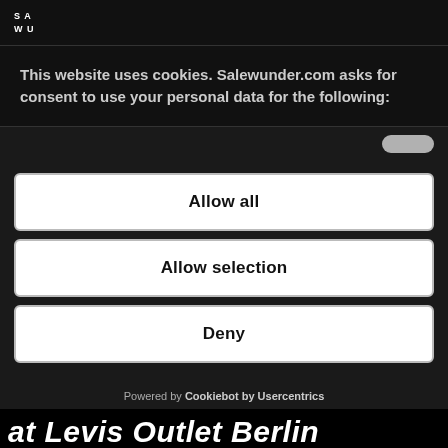SA
WU
This website uses cookies. Salewunder.com asks for consent to use your personal data for the following:
Allow all
Allow selection
Deny
Powered by Cookiebot by Usercentrics
at Levis Outlet Berlin